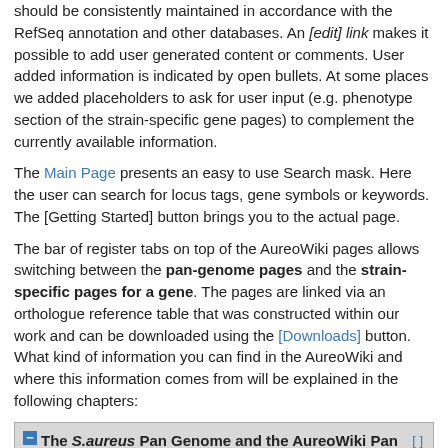should be consistently maintained in accordance with the RefSeq annotation and other databases. An [edit] link makes it possible to add user generated content or comments. User added information is indicated by open bullets. At some places we added placeholders to ask for user input (e.g. phenotype section of the strain-specific gene pages) to complement the currently available information.
The Main Page presents an easy to use Search mask. Here the user can search for locus tags, gene symbols or keywords. The [Getting Started] button brings you to the actual page.
The bar of register tabs on top of the AureoWiki pages allows switching between the pan-genome pages and the strain-specific pages for a gene. The pages are linked via an orthologue reference table that was constructed within our work and can be downloaded using the [Downloads] button. What kind of information you can find in the AureoWiki and where this information comes from will be explained in the following chapters:
The S.aureus Pan Genome and the AureoWiki Pan Genome Pages
For a comparative analysis of S. aureus strains an overall